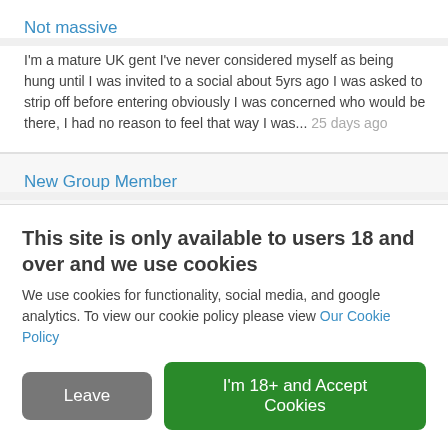Not massive
I'm a mature UK gent I've never considered myself as being hung until I was invited to a social about 5yrs ago I was asked to strip off before entering obviously I was concerned who would be there, I had no reason to feel that way I was... 25 days ago
New Group Member
Hello to to the group! My husband doesnt qualify as above average but is aware that Im intrigued by the well endowed. Great posts within this group and I look forward
This site is only available to users 18 and over and we use cookies
We use cookies for functionality, social media, and google analytics. To view our cookie policy please view Our Cookie Policy
Leave
I'm 18+ and Accept Cookies